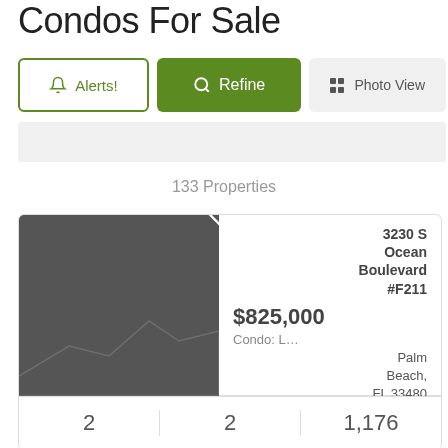Condos For Sale
133 Properties
[Figure (screenshot): Real estate listing card showing a condo property with a dark gray image placeholder, heart favorite icon, address 3230 S Ocean Boulevard #F211, Palm Beach, FL 33480, price $825,000, type Condo: L..., and stats 2 beds, 2 baths, 1,176 sqft]